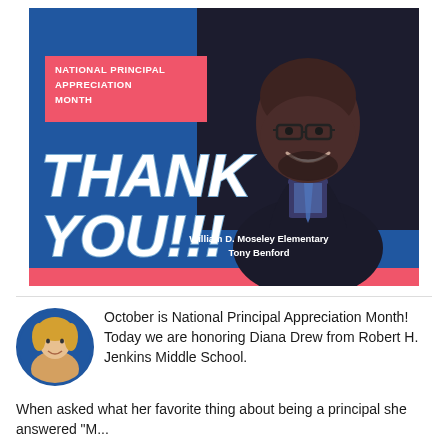[Figure (infographic): National Principal Appreciation Month graphic with blue background, coral accents, photo of Tony Benford from William D. Moseley Elementary, large THANK YOU!!! text]
October is National Principal Appreciation Month! Today we are honoring Diana Drew from Robert H. Jenkins Middle School. When asked what her favorite thing about being a principal she answered "M...